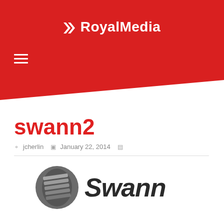RoyalMedia
swann2
jcherlin   January 22, 2014
[Figure (logo): Swann brand logo: grey circular icon with layered stripes on left, bold italic 'Swann' text on right in dark grey/black]